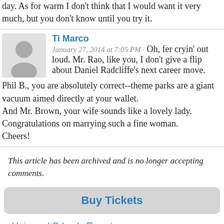day. As for warm I don't think that I would want it very much, but you don't know until you try it.
Ti Marco
January 27, 2014 at 7:05 PM · Oh, fer cryin' out loud. Mr. Rao, like you, I don't give a flip about Daniel Radcliffe's next career move.
Phil B., you are absolutely correct--theme parks are a giant vacuum aimed directly at your wallet.
And Mr. Brown, your wife sounds like a lovely lady. Congratulations on marrying such a fine woman.
Cheers!
This article has been archived and is no longer accepting comments.
Buy Tickets
Universal Orlando Resort
SeaWorld Orlando